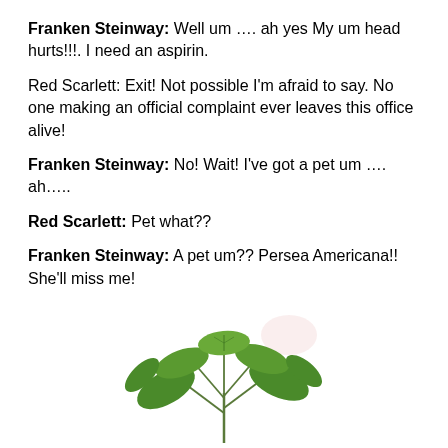Franken Steinway: Well um …. ah yes My um head hurts!!!. I need an aspirin.
Red Scarlett: Exit! Not possible I'm afraid to say. No one making an official complaint ever leaves this office alive!
Franken Steinway: No! Wait! I've got a pet um …. ah…..
Red Scarlett: Pet what??
Franken Steinway: A pet um?? Persea Americana!! She'll miss me!
[Figure (illustration): Illustration of green plant leaves (avocado / Persea Americana plant), botanical style, green leaves fanning out from stems, white background with faint pink smudge.]